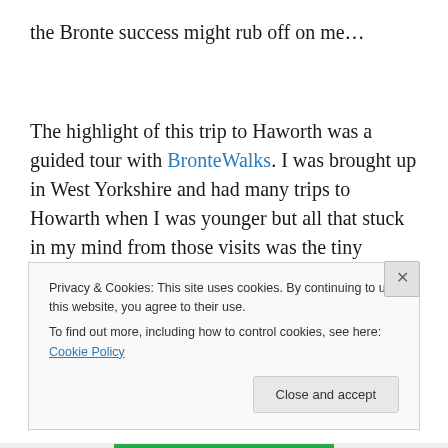the Bronte success might rub off on me…
The highlight of this trip to Haworth was a guided tour with BronteWalks. I was brought up in West Yorkshire and had many trips to Howarth when I was younger but all that stuck in my mind from those visits was the tiny handwritten books that the sisters made as children and the drunken lifestyle of their brother, Branwell.
Privacy & Cookies: This site uses cookies. By continuing to use this website, you agree to their use.
To find out more, including how to control cookies, see here: Cookie Policy
Close and accept